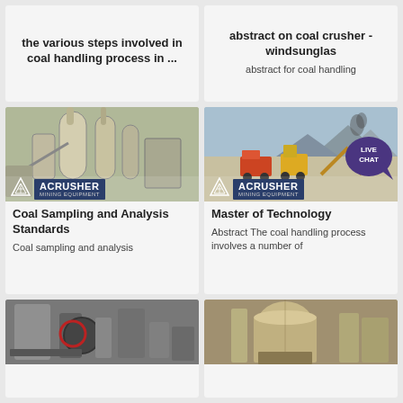the various steps involved in coal handling process in ...
abstract on coal crusher - windsunglas
abstract for coal handling
[Figure (photo): Industrial grinding mill equipment interior with large cylindrical containers and pipes, ACRUSHER Mining Equipment logo overlay]
[Figure (photo): Open quarry/mining site with heavy machinery including trucks and excavators against mountain backdrop, ACRUSHER Mining Equipment logo overlay]
Coal Sampling and Analysis Standards
Coal sampling and analysis
Master of Technology
Abstract The coal handling process involves a number of
[Figure (photo): Industrial milling equipment interior, dark tones]
[Figure (photo): Industrial silo and storage equipment interior]